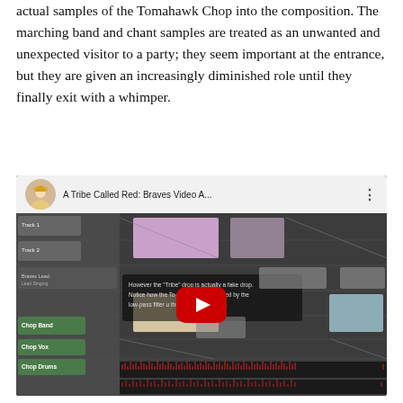actual samples of the Tomahawk Chop into the composition. The marching band and chant samples are treated as an unwanted and unexpected visitor to a party; they seem important at the entrance, but they are given an increasingly diminished role until they finally exit with a whimper.
[Figure (screenshot): YouTube video screenshot titled 'A Tribe Called Red: Braves Video A...' showing a digital audio workstation (DAW) interface with multiple tracks. A text overlay reads: 'However the "Tribe" drop is actually a fake drop. Notice how the Tomahawk chant is emasculated by the low-pass filter until the "true" drop occurs'. A red YouTube play button is centered over the image.]